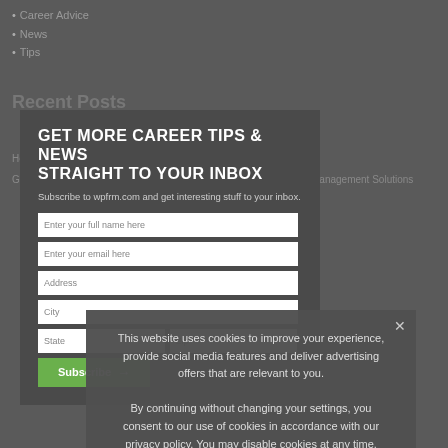Career Advice
News
Tips
GET MORE CAREER TIPS & NEWS STRAIGHT TO YOUR INBOX
Subscribe to wpfrm.com and get interesting stuff to your inbox.
Enter your full name here
Enter your email here
Address
City
State
Zip
Subscribe →
This website uses cookies to improve your experience, provide social media features and deliver advertising offers that are relevant to you.

By continuing without changing your settings, you consent to our use of cookies in accordance with our privacy policy. You may disable cookies at any time.
Ok
Privacy policy